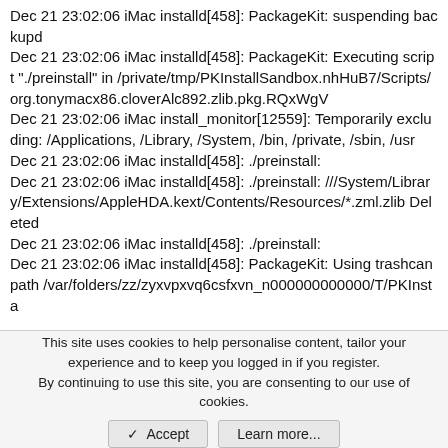Dec 21 23:02:06 iMac installd[458]: PackageKit: suspending backupd
Dec 21 23:02:06 iMac installd[458]: PackageKit: Executing script "./preinstall" in /private/tmp/PKInstallSandbox.nhHuB7/Scripts/org.tonymacx86.cloverAlc892.zlib.pkg.RQxWgV
Dec 21 23:02:06 iMac install_monitor[12559]: Temporarily excluding: /Applications, /Library, /System, /bin, /private, /sbin, /usr
Dec 21 23:02:06 iMac installd[458]: ./preinstall:
Dec 21 23:02:06 iMac installd[458]: ./preinstall: ///System/Library/Extensions/AppleHDA.kext/Contents/Resources/*.zml.zlib Deleted
Dec 21 23:02:06 iMac installd[458]: ./preinstall:
Dec 21 23:02:06 iMac installd[458]: PackageKit: Using trashcan path /var/folders/zz/zyxvpxvq6csfxvn_n000000000000/T/PKInsta
This site uses cookies to help personalise content, tailor your experience and to keep you logged in if you register.
By continuing to use this site, you are consenting to our use of cookies.
✓ Accept   Learn more...